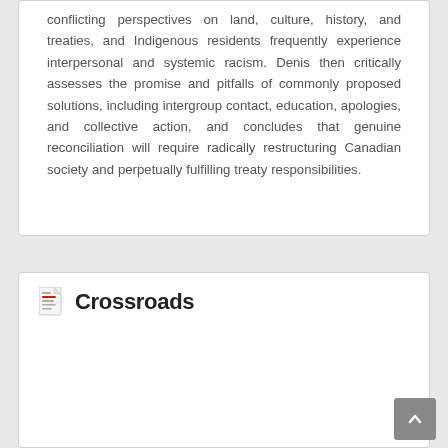conflicting perspectives on land, culture, history, and treaties, and Indigenous residents frequently experience interpersonal and systemic racism. Denis then critically assesses the promise and pitfalls of commonly proposed solutions, including intergroup contact, education, apologies, and collective action, and concludes that genuine reconciliation will require radically restructuring Canadian society and perpetually fulfilling treaty responsibilities.
Crossroads
[Figure (photo): Book cover thumbnail for Crossroads showing a figure in a desert landscape at sunset with warm orange and brown tones]